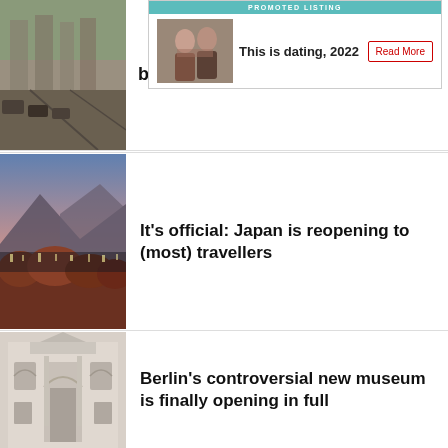[Figure (infographic): Promoted listing ad banner: couple photo on left, 'This is dating, 2022' text, 'Read More' button on right, teal header bar reading 'PROMOTED LISTING']
breaks right now
[Figure (photo): Cityscape at dusk with mountains and autumn foliage in the foreground, pink and blue sky]
It's official: Japan is reopening to (most) travellers
[Figure (photo): White neoclassical building facade with arched windows and ornate details]
Berlin's controversial new museum is finally opening in full